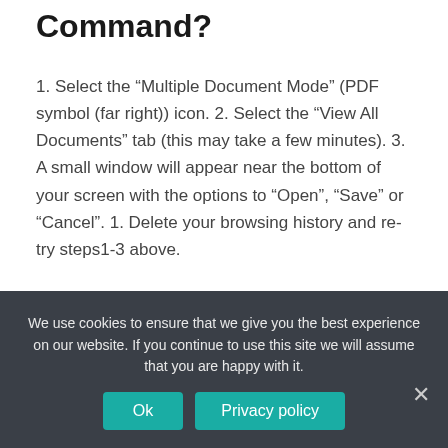Command?
1. Select the “Multiple Document Mode” (PDF symbol (far right)) icon. 2. Select the “View All Documents” tab (this may take a few minutes). 3. A small window will appear near the bottom of your screen with the options to “Open”, “Save” or “Cancel”. 1. Delete your browsing history and re-try steps1-3 above.
How are deployment orders different from PCS orders?
We use cookies to ensure that we give you the best experience on our website. If you continue to use this site we will assume that you are happy with it.